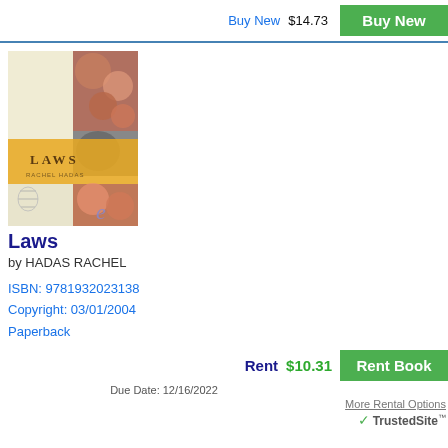Buy New  $14.73
[Figure (illustration): Book cover for 'Laws' by Rachel Hadas, showing a cross-shaped design with floral and portrait imagery on a cream background with an orange/yellow band. An 'e' logo watermark in the corner.]
Laws
by HADAS RACHEL
ISBN: 9781932023138
Copyright: 03/01/2004
Paperback
Rent  $10.31
Due Date: 12/16/2022
More Rental Options
TrustedSite™